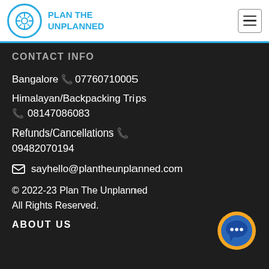PLAN THE UNPLANNED
CONTACT INFO
Bangalore 07760710005
Himalayan/Backpacking Trips 08147086083
Refunds/Cancellations 09482070194
sayhello@plantheunplanned.com
© 2022-23 Plan The Unplanned All Rights Reserved.
ABOUT US
[Figure (illustration): Chat bubble icon — orange ring with blue speech bubble containing three white dots]